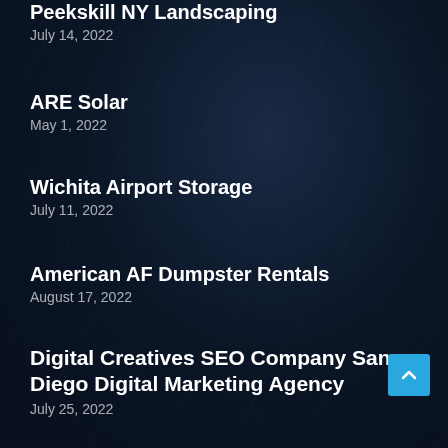Peekskill NY Landscaping
July 14, 2022
ARE Solar
May 1, 2022
Wichita Airport Storage
July 11, 2022
American AF Dumpster Rentals
August 17, 2022
Digital Creatives SEO Company San Diego Digital Marketing Agency
July 25, 2022